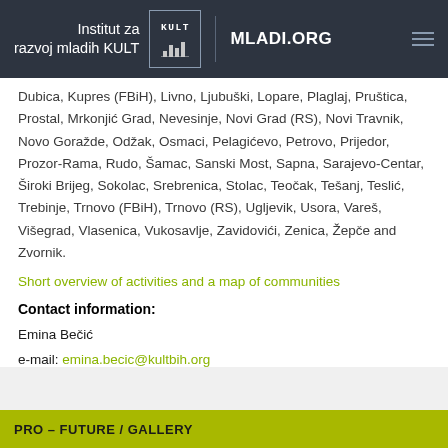Institut za razvoj mladih KULT | MLADI.ORG
Dubica, Kupres (FBiH), Livno, Ljubuški, Lopare, Plaglaj, Pruštica, Prostal, Mrkonjić Grad, Nevesinje, Novi Grad (RS), Novi Travnik, Novo Goražde, Odžak, Osmaci, Pelagićevo, Petrovo, Prijedor, Prozor-Rama, Rudo, Šamac, Sanski Most, Sapna, Sarajevo-Centar, Široki Brijeg, Sokolac, Srebrenica, Stolac, Teočak, Tešanj, Teslić, Trebinje, Trnovo (FBiH), Trnovo (RS), Ugljevik, Usora, Vareš, Višegrad, Vlasenica, Vukosavlje, Zavidovići, Zenica, Žepče and Zvornik.
Short overview of activities and a map of communities
Contact information:
Emina Bečić
e-mail: emina.becic@kultbih.org
PRO – FUTURE / GALLERY